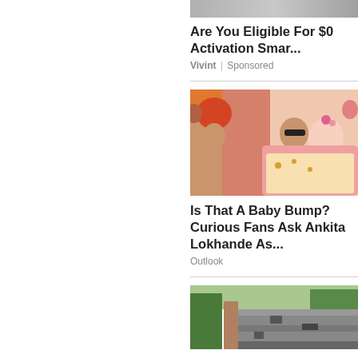[Figure (photo): Partial image at top, appears to be a smart home device or similar, cropped]
Are You Eligible For $0 Activation Smar...
Vivint | Sponsored
[Figure (photo): Photo of a couple at what appears to be an Indian wedding celebration. A man in sunglasses carries a woman in traditional Indian bridal attire, surrounded by people in colorful clothes.]
Is That A Baby Bump? Curious Fans Ask Ankita Lokhande As...
Outlook
[Figure (photo): Partial photo of a house roof showing damaged or deteriorating shingles, with trees in background]